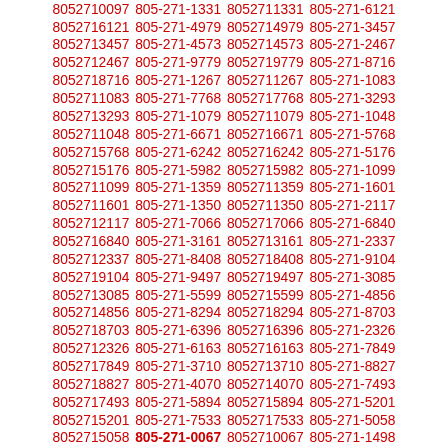8052710097 805-271-1331 8052711331 805-271-6121 8052716121 805-271-4979 8052714979 805-271-3457 8052713457 805-271-4573 8052714573 805-271-2467 8052712467 805-271-9779 8052719779 805-271-8716 8052718716 805-271-1267 8052711267 805-271-1083 8052711083 805-271-7768 8052717768 805-271-3293 8052713293 805-271-1079 8052711079 805-271-1048 8052711048 805-271-6671 8052716671 805-271-5768 8052715768 805-271-6242 8052716242 805-271-5176 8052715176 805-271-5982 8052715982 805-271-1099 8052711099 805-271-1359 8052711359 805-271-1601 8052711601 805-271-1350 8052711350 805-271-2117 8052712117 805-271-7066 8052717066 805-271-6840 8052716840 805-271-3161 8052713161 805-271-2337 8052712337 805-271-8408 8052718408 805-271-9104 8052719104 805-271-9497 8052719497 805-271-3085 8052713085 805-271-5599 8052715599 805-271-4856 8052714856 805-271-8294 8052718294 805-271-8703 8052718703 805-271-6396 8052716396 805-271-2326 8052712326 805-271-6163 8052716163 805-271-7849 8052717849 805-271-3710 8052713710 805-271-8827 8052718827 805-271-4070 8052714070 805-271-7493 8052717493 805-271-5894 8052715894 805-271-5201 8052715201 805-271-7533 8052717533 805-271-5058 8052715058 805-271-0067 8052710067 805-271-1498